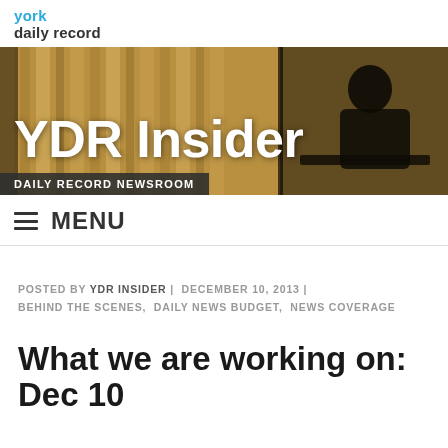york daily record
[Figure (illustration): YDR Insider banner image: dark silhouette of a person at a desk against warm amber/golden window blinds background. White bold text reads 'YDR Insider'. Dark bar at bottom reads 'DAILY RECORD NEWSROOM'.]
MENU
POSTED BY YDR INSIDER | DECEMBER 10, 2013 | BEHIND THE SCENES, DAILY NEWS BUDGET, NEWS COVERAGE
What we are working on: Dec 10...